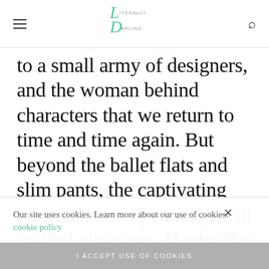Literally Darling — navigation header with hamburger menu and search icon
to a small army of designers, and the woman behind characters that we return to time and time again. But beyond the ballet flats and slim pants, the captivating portraiture and perfectly coiffed pixie cuts, Hepburn fizzled with a natural ... m that will ... ns. The
Our site uses cookies. Learn more about our use of cookies: cookie policy
I ACCEPT USE OF COOKIES